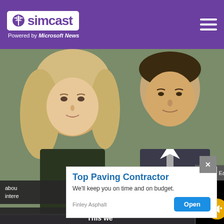simcast — Powered by Microsoft News
[Figure (screenshot): Screenshot of Simcast news website showing a photo of two people (a blond woman and a man in a suit), overlaid with a video popup 'Startup East Goes Global Raises $1M to ...', a cookie consent overlay, and an ad popup for 'Top Paving Contractor' by Finley Asphalt with an Open button.]
Startup East Goes Global Raises $1M to ...
This we
We use them to give you the be will assume that you are
Co
abou intere
Top Paving Contractor
We'll keep you on time and on budget.
Finley Asphalt
Open